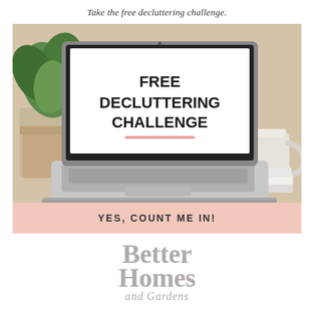Take the free decluttering challenge.
[Figure (photo): Laptop on a wooden desk with a plant and coffee mug. The laptop screen shows 'FREE DECLUTTERING CHALLENGE' text in bold black with a pink underline.]
YES, COUNT ME IN!
[Figure (logo): Better Homes and Gardens logo in grey serif font]